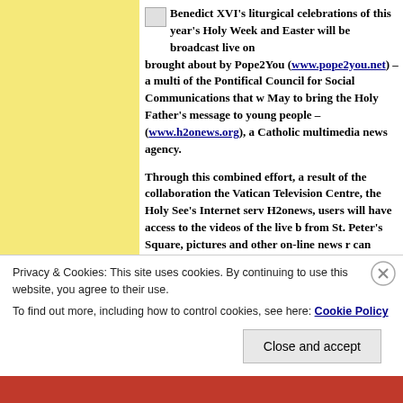Benedict XVI's liturgical celebrations of this year's Holy Week and Easter will be broadcast live on brought about by Pope2You (www.pope2you.net) – a multi of the Pontifical Council for Social Communications that May to bring the Holy Father's message to young people – (www.h2onews.org), a Catholic multimedia news agency.
Through this combined effort, a result of the collaboration the Vatican Television Centre, the Holy See's Internet serv H2onews, users will have access to the videos of the live b from St. Peter's Square, pictures and other on-line news r can choose to listen to live audio commentaries in one of English, French, Italian, German and Spanish.
Posted by deaconjohn1987 in Uncategorized
Privacy & Cookies: This site uses cookies. By continuing to use this website, you agree to their use. To find out more, including how to control cookies, see here: Cookie Policy
Close and accept